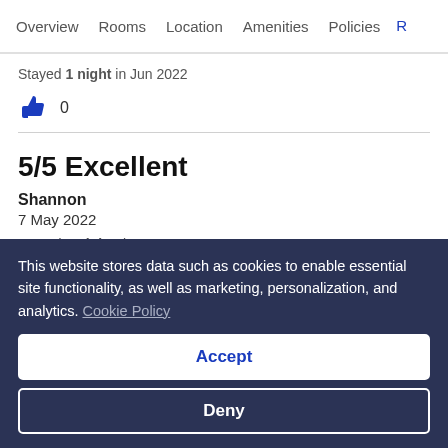Overview | Rooms | Location | Amenities | Policies | R
Stayed 1 night in Jun 2022
👍 0
5/5 Excellent
Shannon
7 May 2022
Stayed 2 nights in May 2022
👍 0
This website stores data such as cookies to enable essential site functionality, as well as marketing, personalization, and analytics. Cookie Policy
Accept
Deny